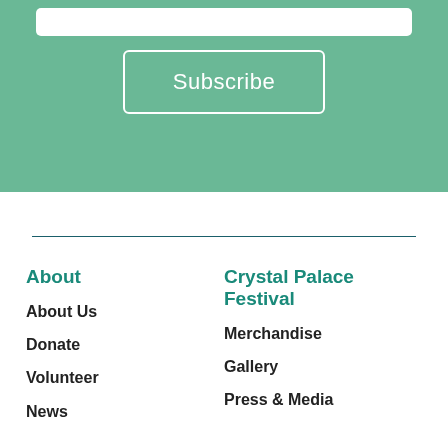[Figure (other): Green subscription section with input bar and Subscribe button]
Subscribe
About
About Us
Donate
Volunteer
News
Crystal Palace Festival
Merchandise
Gallery
Press & Media